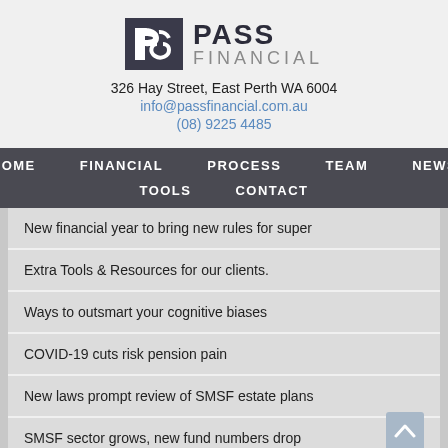[Figure (logo): Pass Financial logo with stylized PF icon and text PASS FINANCIAL]
326 Hay Street, East Perth WA 6004
info@passfinancial.com.au
(08) 9225 4485
HOME   FINANCIAL   PROCESS   TEAM   NEWS   TOOLS   CONTACT
New financial year to bring new rules for super
Extra Tools & Resources for our clients.
Ways to outsmart your cognitive biases
COVID-19 cuts risk pension pain
New laws prompt review of SMSF estate plans
SMSF sector grows, new fund numbers drop